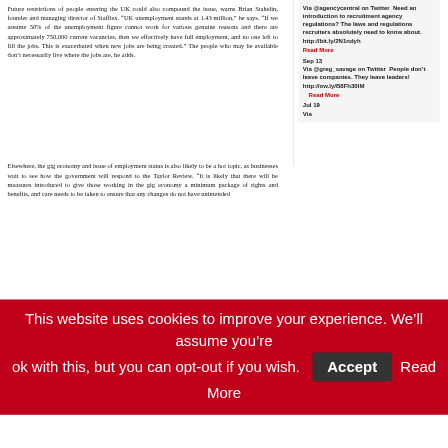Future restrictions of people entering the UK could also compound the issue, warns Brian Stahelin, founder and managing director of Stafflex. “UK unemployment stands at 1.43 million,” he says. “If we assume 50% of the unemployment figure cannot work for various genuine reasons and there are approximately 750,000 current vacancies, then we effectively have full employment, and no one left to fill the jobs. This is exacerbated when new jobs are being created.” The people who may be available don’t necessarily live where the jobs are, he adds.
Elsewhere, the gig economy and issue of employment status is also likely to be a hot topic, as businesses wait to see how the government will respond to the Taylor Review. “It is likely that there will be measures introduced to give those working in the gig economy a minimum package of rights and benefits, and care needs to be taken to ensure that any changes do not have unintended
Via @agencycentral on Twitter  Need an introduction to recruitment agency regulations? The laws and regulations recruiters absolutely need to know about. http://bit.ly/2N1ndyh
Read More
Sep 13
Via @greg_savage on Twitter  People don’t leave companies. They leave leaders! http://ow.ly/B8Fh30lM
Read More
Jul 19
Via
This website uses cookies to improve your experience. We’ll assume you’re ok with this, but you can opt-out if you wish.
Accept
Read More